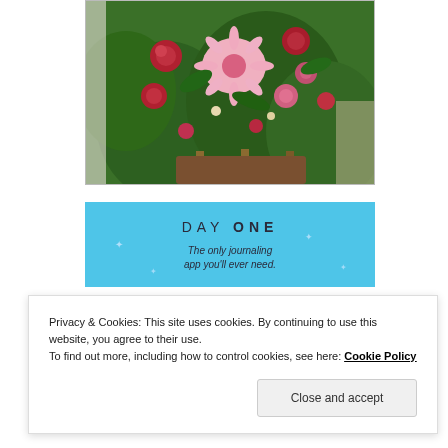[Figure (photo): A floral arrangement with pink gerbera daisies, red roses, and various pink and red flowers with green foliage, displayed on a stand indoors.]
[Figure (screenshot): Day One app advertisement on a light blue background. Text reads: DAY ONE — The only journaling app you'll ever need.]
Privacy & Cookies: This site uses cookies. By continuing to use this website, you agree to their use.
To find out more, including how to control cookies, see here: Cookie Policy
Close and accept